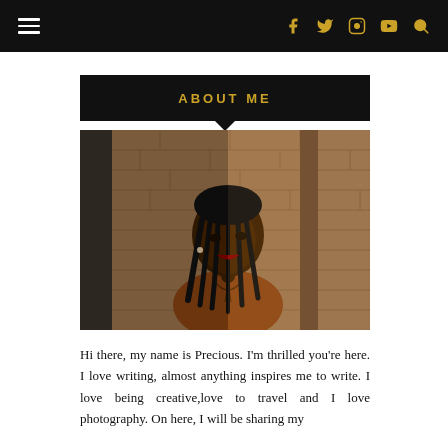Navigation bar with hamburger menu and social icons (Facebook, Twitter, Instagram, YouTube, Search)
ABOUT ME
[Figure (photo): Portrait photo of a young woman named Precious with braided hair, wearing a brown top, leaning against a brick wall]
Hi there, my name is Precious. I'm thrilled you're here. I love writing, almost anything inspires me to write. I love being creative,love to travel and I love photography. On here, I will be sharing my